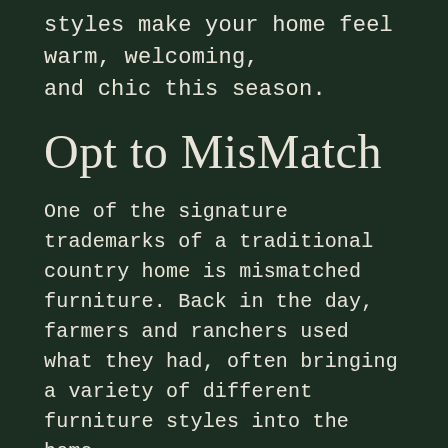styles make your home feel warm, welcoming, and chic this season.
Opt to MisMatch
One of the signature trademarks of a traditional country home is mismatched furniture. Back in the day, farmers and ranchers used what they had, often bringing a variety of different furniture styles into the home.
Today, you can achieve the same look with a modern twist by going for furniture that's different, but similar colors.
Think twin couches that are the same style but a different color. Choose throw pillows that complement each other, but don't match on each piece of furniture. Even a leather chair mixed with